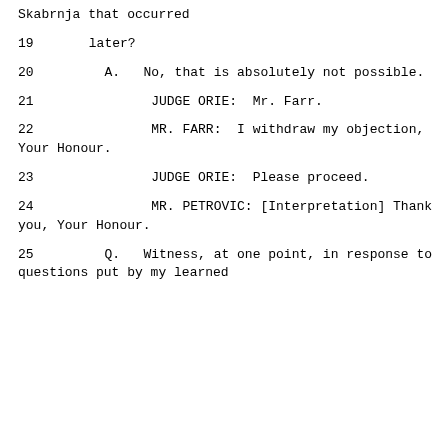Skabrnja that occurred
19      later?
20        A.   No, that is absolutely not possible.
21              JUDGE ORIE:  Mr. Farr.
22              MR. FARR:  I withdraw my objection, Your Honour.
23              JUDGE ORIE:  Please proceed.
24              MR. PETROVIC: [Interpretation] Thank you, Your Honour.
25        Q.   Witness, at one point, in response to questions put by my learned